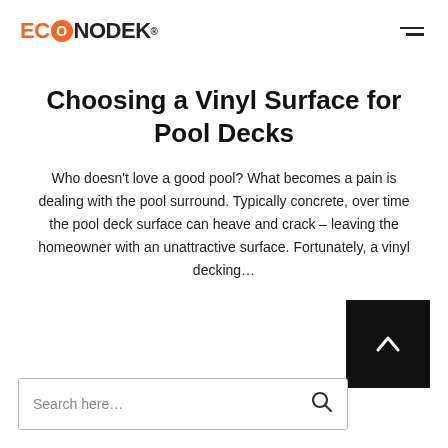ECONODEK (logo) — navigation hamburger menu
Choosing a Vinyl Surface for Pool Decks
Who doesn't love a good pool? What becomes a pain is dealing with the pool surround. Typically concrete, over time the pool deck surface can heave and crack – leaving the homeowner with an unattractive surface. Fortunately, a vinyl decking…
[Figure (other): Black scroll-to-top button with white upward chevron arrow]
Search here…